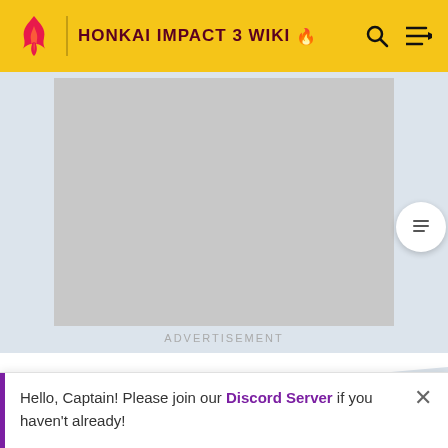HONKAI IMPACT 3 WIKI
[Figure (screenshot): Advertisement placeholder area with light gray background]
ADVERTISEMENT
MORE INFORMATION
Top Contributors
Categories
Hello, Captain! Please join our Discord Server if you haven't already!